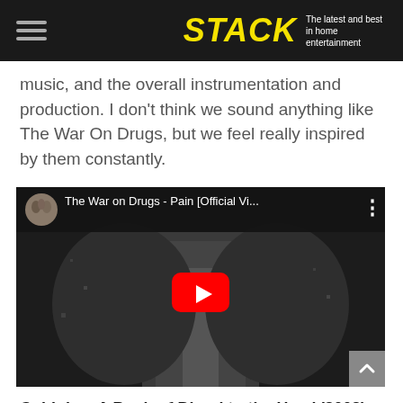STACK – The latest and best in home entertainment
music, and the overall instrumentation and production. I don't think we sound anything like The War On Drugs, but we feel really inspired by them constantly.
[Figure (screenshot): YouTube video embed showing 'The War on Drugs - Pain [Official Vi...]' with a black and white aerial photograph as the video thumbnail and a red YouTube play button in the center.]
Coldplay, A Rush of Blood to the Head (2002)